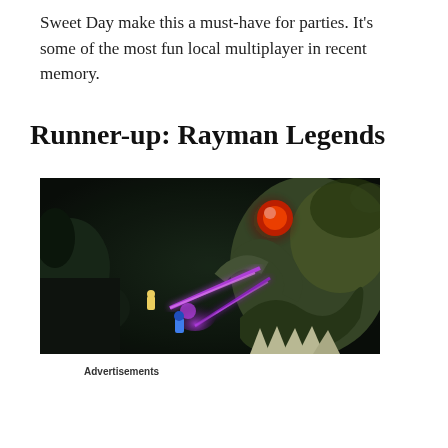Sweet Day make this a must-have for parties. It’s some of the most fun local multiplayer in recent memory.
Runner-up: Rayman Legends
[Figure (photo): Screenshot from Rayman Legends video game showing characters fighting a large monster with glowing purple laser beams in a dark environment]
Advertisements
The best stories on the web — ours, and everyone else’s.